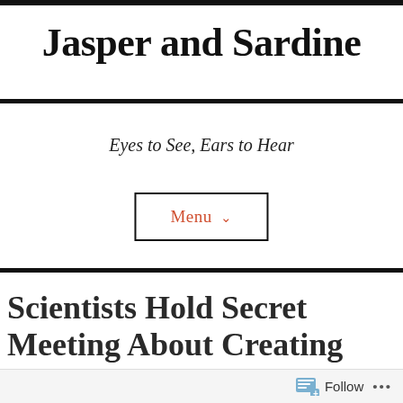Jasper and Sardine
Eyes to See, Ears to Hear
Menu
Scientists Hold Secret Meeting About Creating Human Genome
Follow ...